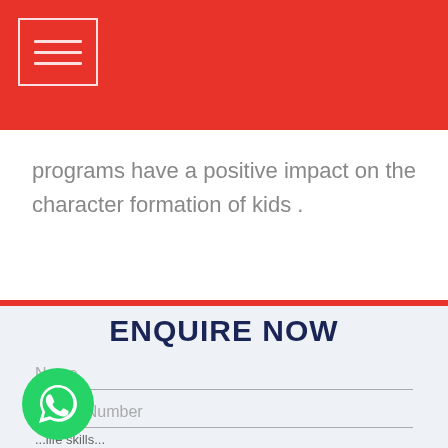Navigation menu icon (hamburger) on red header bar
programs have a positive impact on the character formation of kids .
ENQUIRE NOW
Name
Phone Number
[Figure (logo): WhatsApp icon button — green circular button with white WhatsApp phone/speech-bubble logo]
o
...life skills...